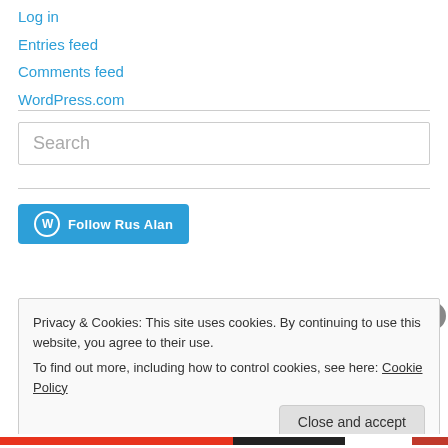Log in
Entries feed
Comments feed
WordPress.com
[Figure (other): Search input box with placeholder text 'Search']
[Figure (other): Follow Rus Alan button with WordPress logo]
Privacy & Cookies: This site uses cookies. By continuing to use this website, you agree to their use. To find out more, including how to control cookies, see here: Cookie Policy
Close and accept